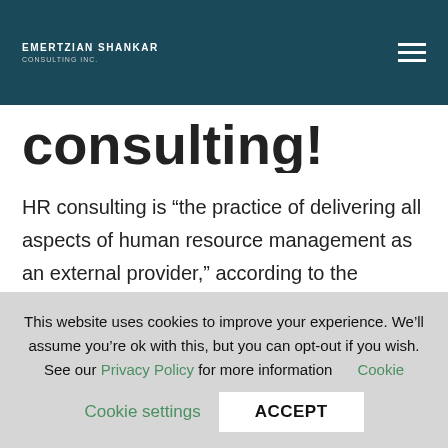Emertzian Shankar Consulting
consulting!
HR consulting is “the practice of delivering all aspects of human resource management as an external provider,” according to the Society for Human Resource Management (SHRM). In other words, HR consultants help businesses and
This website uses cookies to improve your experience. We’ll assume you’re ok with this, but you can opt-out if you wish. See our Privacy Policy for more information
Cookie settings   ACCEPT